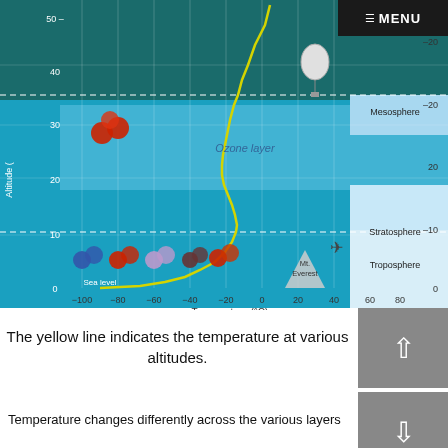[Figure (continuous-plot): Atmospheric temperature profile chart showing altitude (km) on left y-axis (0-45 km), altitude in miles on right y-axis, temperature (°C) on x-axis (-100 to 80). A yellow line shows temperature variation with altitude. Colored layers indicate Troposphere, Stratosphere (with Ozone layer label), and Mesosphere. Molecule illustrations shown at sea level and at altitude ~30km. Weather balloon shown at ~40km. Mt. Everest peak shown. Airplane shown at troposphere altitude.]
The yellow line indicates the temperature at various altitudes.
Temperature changes differently across the various layers